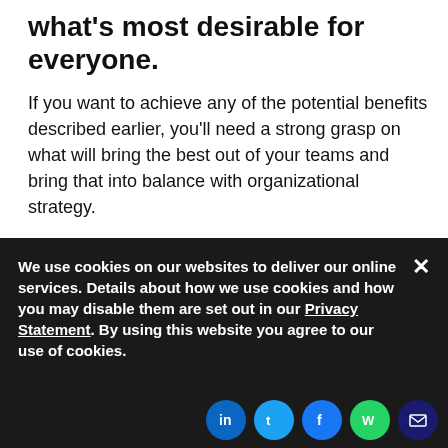what's most desirable for everyone.
If you want to achieve any of the potential benefits described earlier, you'll need a strong grasp on what will bring the best out of your teams and bring that into balance with organizational strategy.
More on remote and hybrid work
Remote work exhaustion: 13 tips to reduce fatigue
We use cookies on our websites to deliver our online services. Details about how we use cookies and how you may disable them are set out in our Privacy Statement. By using this website you agree to our use of cookies.